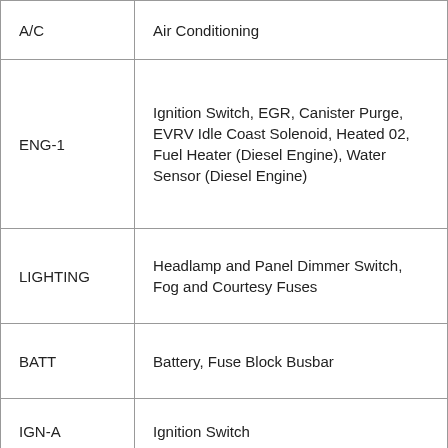| Label | Description |
| --- | --- |
| A/C | Air Conditioning |
| ENG-1 | Ignition Switch, EGR, Canister Purge, EVRV Idle Coast Solenoid, Heated 02, Fuel Heater (Diesel Engine), Water Sensor (Diesel Engine) |
| LIGHTING | Headlamp and Panel Dimmer Switch, Fog and Courtesy Fuses |
| BATT | Battery, Fuse Block Busbar |
| IGN-A | Ignition Switch |
| IGN-B | Ignition Switch |
| ABS | Anti-Lock Brake Module |